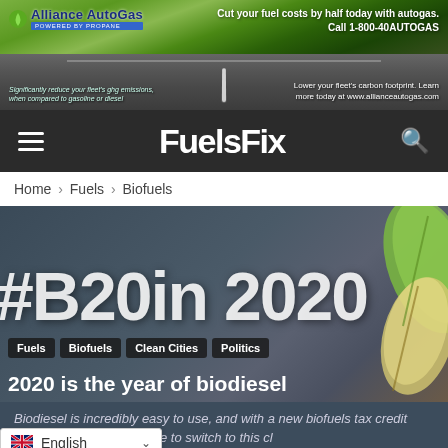[Figure (photo): Alliance AutoGas advertisement banner showing a road stretching into the distance with green fields, promoting autogas to cut fuel costs by half. Text: 'Cut your fuel costs by half today with autogas. Call 1-800-40AUTOGAS' and 'Lower your fleet's carbon footprint. Learn more today at www.allianceautogas.com' and 'Significantly reduce your fleet's ghg emissions, when compared to gasoline or diesel']
FuelsFix
Home › Fuels › Biofuels
[Figure (screenshot): Hero image showing #B20in2020 hashtag in large white text over a dark blue-grey background with tropical leaves on the right side. Tags shown: Fuels, Biofuels, Clean Cities, Politics]
2020 is the year of biodiesel
Biodiesel is incredibly easy to use, and with a new biofuels tax credit ex[tended] ... [there has] never been a better time to switch to this cl[ean fuel]
English